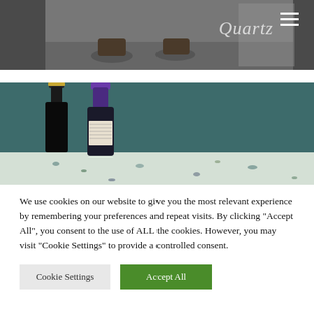[Figure (photo): Dark interior room with chairs and furniture, overlaid with Quartz logo and hamburger menu icon]
[Figure (photo): Wine bottles on a terrazzo countertop with teal/dark green background]
We use cookies on our website to give you the most relevant experience by remembering your preferences and repeat visits. By clicking "Accept All", you consent to the use of ALL the cookies. However, you may visit "Cookie Settings" to provide a controlled consent.
Cookie Settings
Accept All